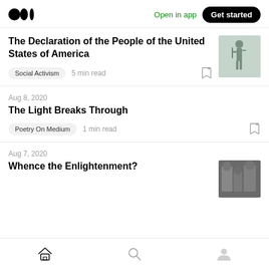Medium logo | Open in app | Get started
The Declaration of the People of the United States of America
Social Activism  5 min read
Aug 8, 2020
The Light Breaks Through
Poetry On Medium  1 min read
Aug 7, 2020
Whence the Enlightenment?
Home | Search | Profile